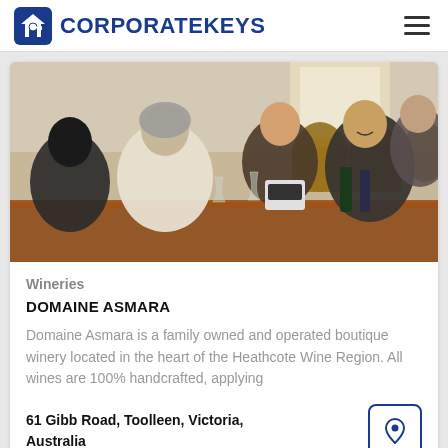CORPORATEKEYS
[Figure (photo): People sitting around a table at a winery tasting room with wine barrels in the background. A smiling woman is prominent in the foreground. Wine glasses and bottles are on the table.]
Wineries
DOMAINE ASMARA
Domaine Asmara is a family owned and operated boutique winery located in the heart of the Heathcote Wine Region. All wines are 100% handcrafted, applying
61 Gibb Road, Toolleen, Victoria, Australia